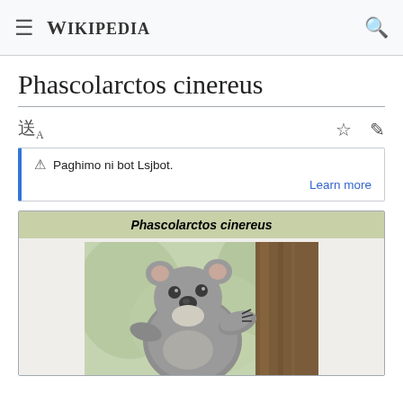Wikipedia
Phascolarctos cinereus
Paghimo ni bot Lsjbot.
Learn more
| Phascolarctos cinereus |
| --- |
[Figure (photo): Photo of a koala clinging to a tree trunk, looking at the camera, with blurred green background.]